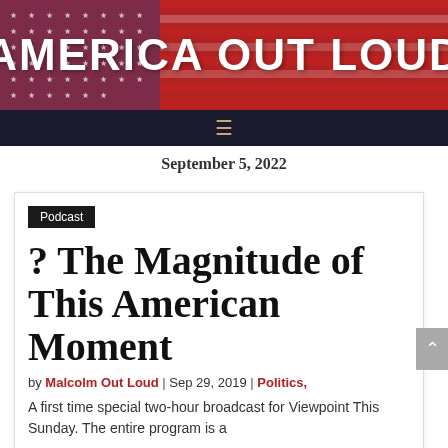AMERICA OUT LOUD
September 5, 2022
Podcast
? The Magnitude of This American Moment
by Malcolm Out Loud | Sep 29, 2019 | Politics,
A first time special two-hour broadcast for Viewpoint This Sunday. The entire program is a